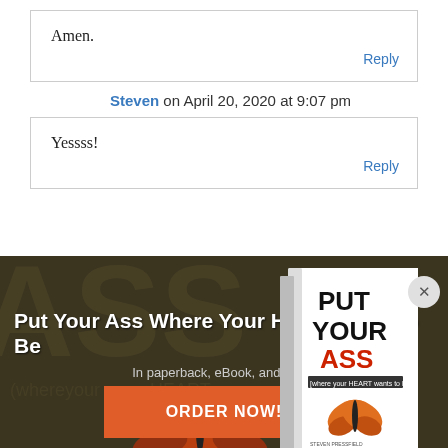Amen.
Reply
Steven on April 20, 2020 at 9:07 pm
Yessss!
Reply
[Figure (illustration): Book cover for 'Put Your Ass Where Your Heart Wants to Be' showing text and a butterfly]
Put Your Ass Where Your Heart Wants to Be
In paperback, eBook, and audio
ORDER NOW!